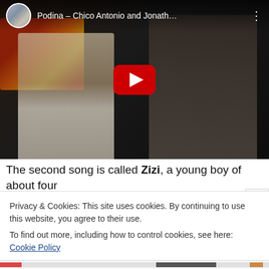[Figure (screenshot): YouTube video thumbnail showing two men, one with a guitar. Title reads 'Podina – Chico Antonio and Jonath...' with a YouTube play button overlay.]
The second song is called Zizi, a young boy of about four
Privacy & Cookies: This site uses cookies. By continuing to use this website, you agree to their use.
To find out more, including how to control cookies, see here: Cookie Policy
Close and accept